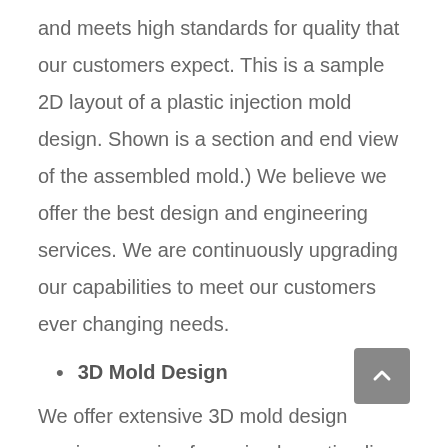and meets high standards for quality that our customers expect. This is a sample 2D layout of a plastic injection mold design. Shown is a section and end view of the assembled mold.) We believe we offer the best design and engineering services. We are continuously upgrading our capabilities to meet our customers ever changing needs.
3D Mold Design
We offer extensive 3D mold design services ranging from simple parting line splits to full 3D mold assemblies using Unigraphics software. Our 3D mold designs are detailed to include all components...